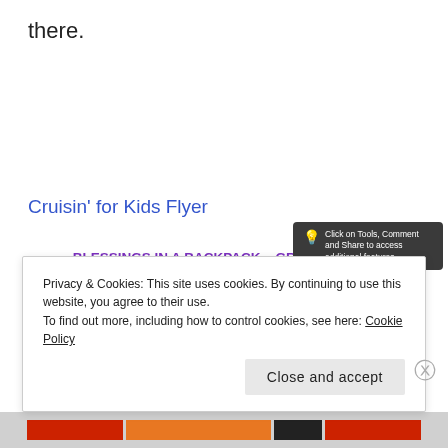there.
Cruisin' for Kids Flyer
BLESSINGS IN A BACKPACK – GRAND LEDGE and the CARING NEIGHBOR FOUNDATION Golf Outing Fundraiser
Privacy & Cookies: This site uses cookies. By continuing to use this website, you agree to their use.
To find out more, including how to control cookies, see here: Cookie Policy
Close and accept